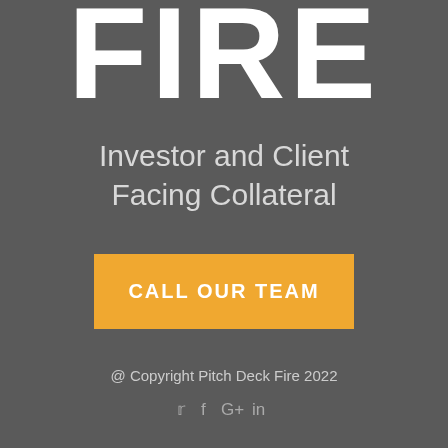FIRE
Investor and Client Facing Collateral
CALL OUR TEAM
@ Copyright Pitch Deck Fire 2022
[Figure (illustration): Social media icons: Twitter, Facebook, Google+, LinkedIn]